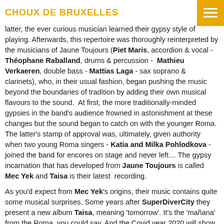CHOUX DE BRUXELLES
with gypsy musicians and, through their guidance and contacts, to travel regularly to a Roma community in Slovakia. Through the latter, the ever curious musician learned their gypsy style of playing. Afterwards, this repertoire was thoroughly reinterpreted by the musicians of Jaune Toujours (Piet Maris, accordion & vocal - Théophane Raballand, drums & percussion - Mathieu Verkaeren, double bass - Mattias Laga - sax soprano & clarinets), who, in their usual fashion, began pushing the music beyond the boundaries of tradition by adding their own musical flavours to the sound. At first, the more traditionally-minded gypsies in the band's audience frowned in astonishment at these changes but the sound began to catch on with the younger Roma. The latter's stamp of approval was, ultimately, given authority when two young Roma singers - Katia and Milka Pohlodkova - joined the band for encores on stage and never left… The gypsy incarnation that has developed from Jaune Toujours is called Mec Yek and Taisa is their latest recording.
As you'd expect from Mec Yek's origins, their music contains quite some musical surprises. Some years after SuperDiverCity they present a new album Taisa, meaning 'tomorrow'. It's the 'mañana' from the Roma, you could say. And the Covid year 2020 will show to be decisive for the sound of the new repertoire. Mec Yek has opted for a lightweight percussion device, so that it could be easily